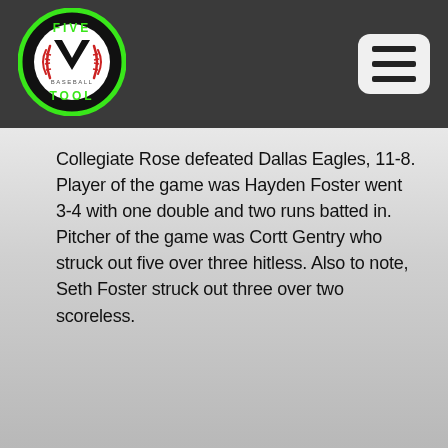[Figure (logo): Five Tool Baseball circular logo with green border, baseball graphic, and V arrow symbol in black and white, with text FIVE TOOL BASEBALL]
Collegiate Rose defeated Dallas Eagles, 11-8. Player of the game was Hayden Foster went 3-4 with one double and two runs batted in. Pitcher of the game was Cortt Gentry who struck out five over three hitless. Also to note, Seth Foster struck out three over two scoreless.